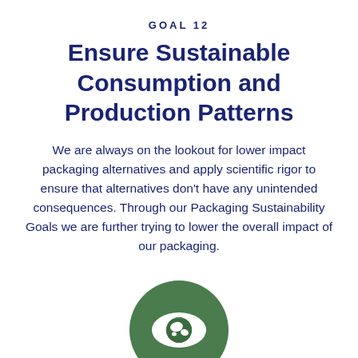GOAL 12
Ensure Sustainable Consumption and Production Patterns
We are always on the lookout for lower impact packaging alternatives and apply scientific rigor to ensure that alternatives don't have any unintended consequences. Through our Packaging Sustainability Goals we are further trying to lower the overall impact of our packaging.
[Figure (illustration): Green circle icon containing a white eye with a globe/earth as the pupil, representing sustainable consumption and production (SDG Goal 12 icon).]